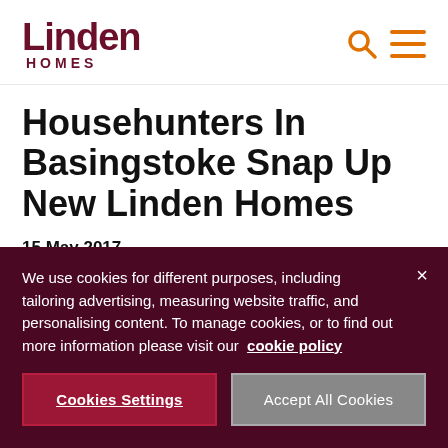Linden HOMES
Househunters In Basingstoke Snap Up New Linden Homes
15 May 2017
We use cookies for different purposes, including tailoring advertising, measuring website traffic, and personalising content. To manage cookies, or to find out more information please visit our cookie policy
Cookies Settings
Accept All Cookies